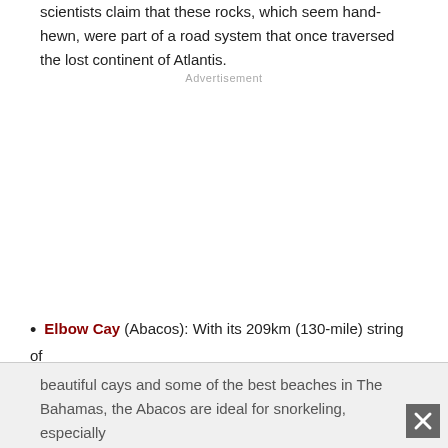scientists claim that these rocks, which seem hand-hewn, were part of a road system that once traversed the lost continent of Atlantis.
Advertisement
Elbow Cay (Abacos): With its 209km (130-mile) string of beautiful cays and some of the best beaches in The Bahamas, the Abacos are ideal for snorkeling, especially